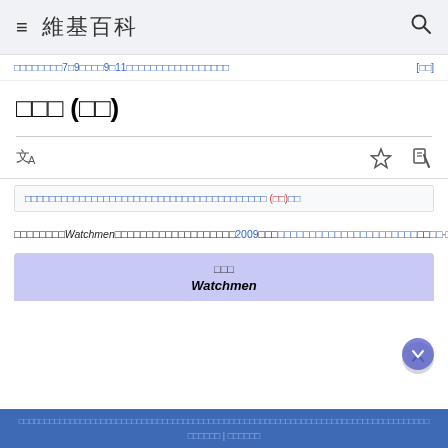≡ 維基百科 🔍
□□□□□□□□7□9□□□□9□11□□□□□□□□□□□□□□□□□ [□□]
□□□ (□□)
□□□□□□□□□□□□□□□□□□□□□□□□□□□□□□□□□□□ (□□)□□
□□□□□□□□Watchmen□□□□□□□□□□□□□□□□□□□2009□□□□□□□□□□□□□□□□□□□□□·□□□□□□□□□·□□□□□□□□□□·□□□□□□□□·□□□□·□□·□□□□□□□·□□·□□□□□□·□□□□□□□□□□□□□□1986□□1987□□□□□□□□□□□□□□□□□□□·□□□□·□□□□□□□□1985□□□□□□□□□□□□□□□□□□□□□□□□□□□□□□□□□□□□
□□□
Watchmen
□□□□□□□□□□□□□□□□□□□□□□□□□□□□□□□□□□□□□□□□□□□□□□□□□□□□□□□□□ | □□□□□□